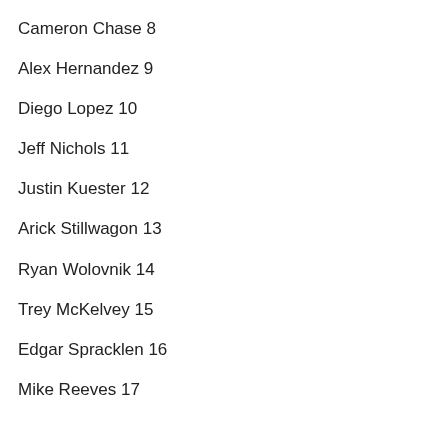Cameron Chase 8
Alex Hernandez 9
Diego Lopez 10
Jeff Nichols 11
Justin Kuester 12
Arick Stillwagon 13
Ryan Wolovnik 14
Trey McKelvey 15
Edgar Spracklen 16
Mike Reeves 17